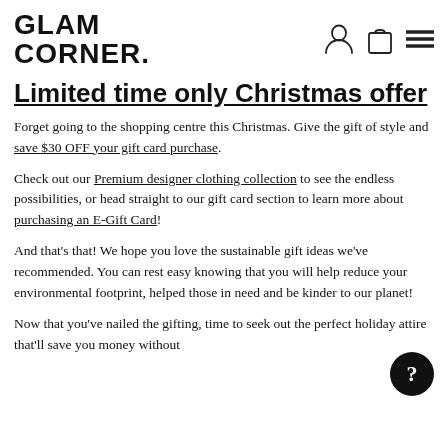GLAM CORNER.
Limited time only Christmas offer
Forget going to the shopping centre this Christmas. Give the gift of style and save $30 OFF your gift card purchase.
Check out our Premium designer clothing collection to see the endless possibilities, or head straight to our gift card section to learn more about purchasing an E-Gift Card!
And that's that! We hope you love the sustainable gift ideas we've recommended. You can rest easy knowing that you will help reduce your environmental footprint, helped those in need and be kinder to our planet!
Now that you've nailed the gifting, time to seek out the perfect holiday attire that'll save you money without